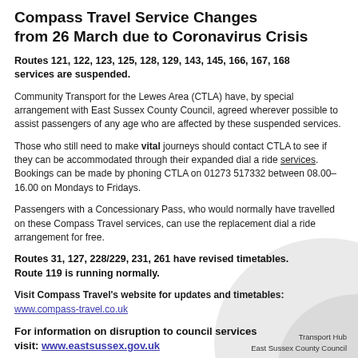Compass Travel Service Changes from 26 March due to Coronavirus Crisis
Routes 121, 122, 123, 125, 128, 129, 143, 145, 166, 167, 168 services are suspended.
Community Transport for the Lewes Area (CTLA) have, by special arrangement with East Sussex County Council, agreed wherever possible to assist passengers of any age who are affected by these suspended services.
Those who still need to make vital journeys should contact CTLA to see if they can be accommodated through their expanded dial a ride services.  Bookings can be made by phoning CTLA on 01273 517332 between 08.00–16.00 on Mondays to Fridays.
Passengers with a Concessionary Pass, who would normally have travelled on these Compass Travel services, can use the replacement dial a ride arrangement for free.
Routes 31, 127, 228/229, 231, 261 have revised timetables. Route 119 is running normally.
Visit Compass Travel's website for updates and timetables: www.compass-travel.co.uk
For information on disruption to council services visit: www.eastsussex.gov.uk
Transport Hub East Sussex County Council